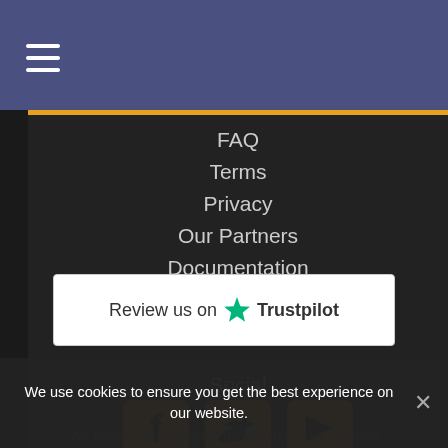≡ (menu icon)
FAQ
Terms
Privacy
Our Partners
Documentation
Sitemap
RSS Feed
Social
[Figure (illustration): Social media icons: Facebook (f), Twitter (bird), YouTube (play button triangle) — all in orange/amber color]
[Figure (logo): Trustpilot review badge: white box with text 'Review us on ★ Trustpilot']
We use cookies to ensure you get the best experience on our website.
We provide the best list of game servers, and support